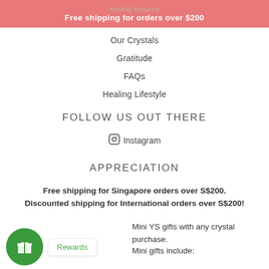Healing Sessions
Free shipping for orders over $200
Our Crystals
Gratitude
FAQs
Healing Lifestyle
FOLLOW US OUT THERE
Instagram
APPRECIATION
Free shipping for Singapore orders over S$200. Discounted shipping for International orders over S$200!
Mini YS gifts with any crystal purchase.
Mini gifts include:
[Figure (illustration): Green circular rewards button with gift/present icon, and a white pill badge labeled Rewards]